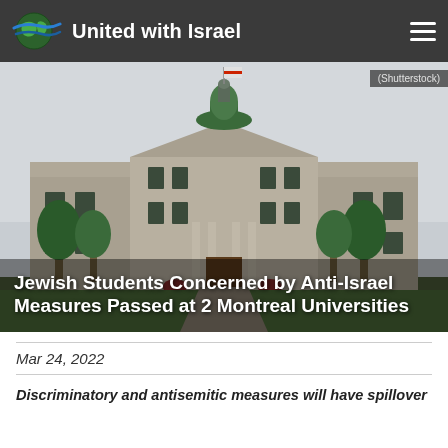United with Israel
[Figure (photo): Photograph of a large neo-classical stone university building with a green dome and a red-and-white flag on top, flanked by evergreen trees. The image appears to be of McGill University in Montreal.]
Jewish Students Concerned by Anti-Israel Measures Passed at 2 Montreal Universities
Mar 24, 2022
Discriminatory and antisemitic measures will have spillover